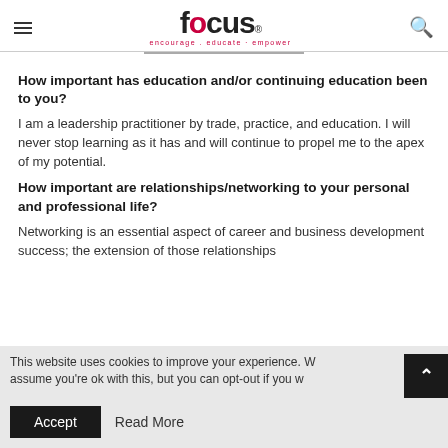focus. encourage . educate · empower
How important has education and/or continuing education been to you?
I am a leadership practitioner by trade, practice, and education. I will never stop learning as it has and will continue to propel me to the apex of my potential.
How important are relationships/networking to your personal and professional life?
Networking is an essential aspect of career and business development success; the extension of those relationships
This website uses cookies to improve your experience. We assume you're ok with this, but you can opt-out if you w